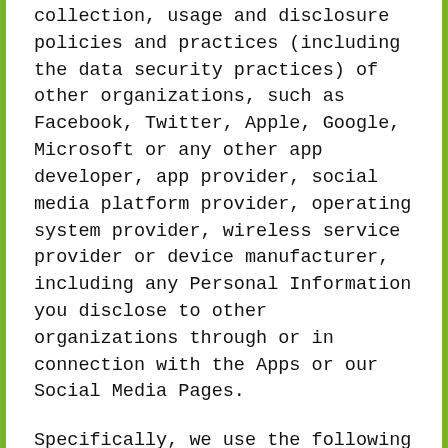collection, usage and disclosure policies and practices (including the data security practices) of other organizations, such as Facebook, Twitter, Apple, Google, Microsoft or any other app developer, app provider, social media platform provider, operating system provider, wireless service provider or device manufacturer, including any Personal Information you disclose to other organizations through or in connection with the Apps or our Social Media Pages.
Specifically, we use the following third-party service providers in order to provide the Services to you:
When you place an order for food through the Website, you will be directed to our third-party ordering service provider, Square Capital, LLC. Any Personal Information you provide to Square